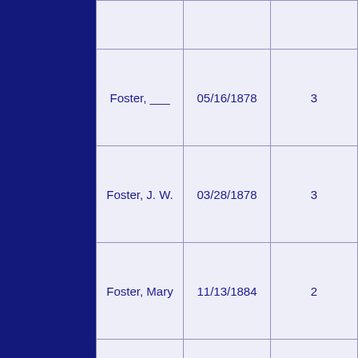| Name | Date | Vol |
| --- | --- | --- |
|  |  |  |
| Foster, ___ | 05/16/1878 | 3 |
| Foster, J. W. | 03/28/1878 | 3 |
| Foster, Mary | 11/13/1884 | 2 |
| Frank, Payton | 10/06/1881 | 3 |